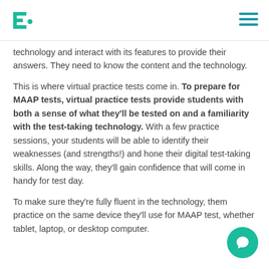E· [logo] [hamburger menu]
technology and interact with its features to provide their answers. They need to know the content and the technology.
This is where virtual practice tests come in. To prepare for MAAP tests, virtual practice tests provide students with both a sense of what they'll be tested on and a familiarity with the test-taking technology. With a few practice sessions, your students will be able to identify their weaknesses (and strengths!) and hone their digital test-taking skills. Along the way, they'll gain confidence that will come in handy for test day.
To make sure they're fully fluent in the technology, them practice on the same device they'll use for MAAP test, whether tablet, laptop, or desktop computer.